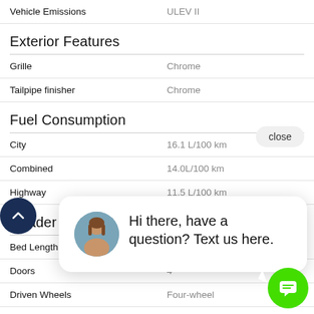| Feature | Value |
| --- | --- |
| Vehicle Emissions | ULEV II |
Exterior Features
| Feature | Value |
| --- | --- |
| Grille | Chrome |
| Tailpipe finisher | Chrome |
Fuel Consumption
| Feature | Value |
| --- | --- |
| City | 16.1 L/100 km |
| Combined | 14.0L/100 km |
| Highway | 11.5 L/100 km |
Header
| Feature | Value |
| --- | --- |
| Bed Length |  |
| Doors | 4 |
| Driven Wheels | Four-wheel |
| Engine Size | 5.7 L |
| Fuel Type | Regular unleaded |
| Mfr Bed Type | Regular |
[Figure (other): Chat popup with avatar and text: Hi there, have a question? Text us here.]
[Figure (other): Green circular chat FAB button with message icon]